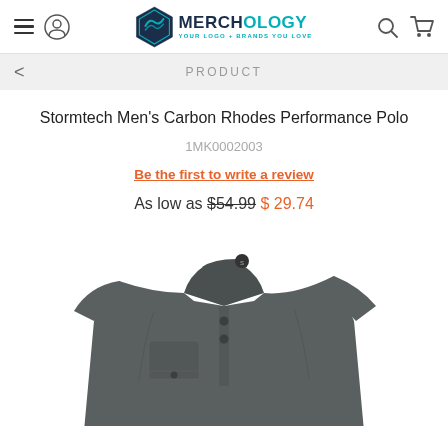Merchology — YOUR LOGO + BRANDS YOU LOVE
PRODUCT
Stormtech Men's Carbon Rhodes Performance Polo
1MK0002003
Be the first to write a review
As low as $54.99 $ 29.74
[Figure (photo): Dark grey Stormtech Men's Carbon Rhodes Performance Polo shirt, showing collar, buttons, and chest pocket]